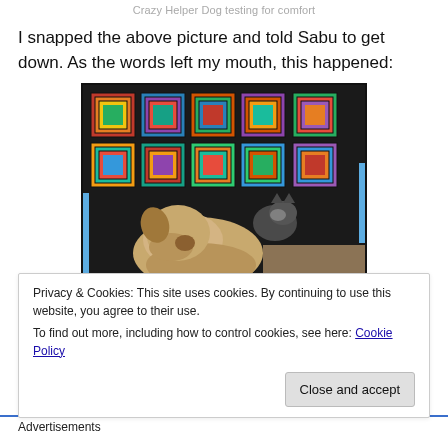Crazy Helper Dog testing for comfort
I snapped the above picture and told Sabu to get down. As the words left my mouth, this happened:
[Figure (photo): A dog and a cat lying together on a colorful patchwork quilt/blanket. The dog is light-colored (golden/white) and the cat appears dark. The blanket has a log cabin quilt pattern with many bright colors.]
Privacy & Cookies: This site uses cookies. By continuing to use this website, you agree to their use.
To find out more, including how to control cookies, see here: Cookie Policy
Close and accept
Advertisements